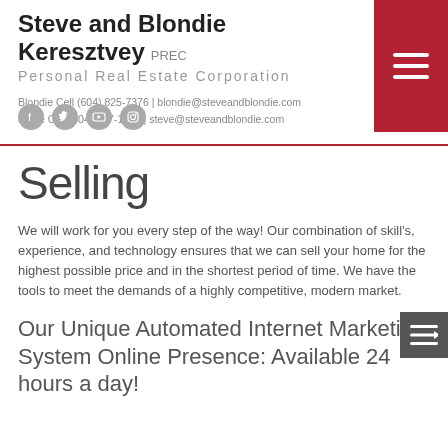Steve and Blondie Keresztvey PREC Personal Real Estate Corporation
Blondie Cell (604) 825-7376 | blondie@steveandblondie.com
Steve Cell (604) 807-1671 | steve@steveandblondie.com
Selling
We will work for you every step of the way! Our combination of skill's, experience, and technology ensures that we can sell your home for the highest possible price and in the shortest period of time. We have the tools to meet the demands of a highly competitive, modern market.
Our Unique Automated Internet Marketing System Online Presence: Available 24 hours a day!